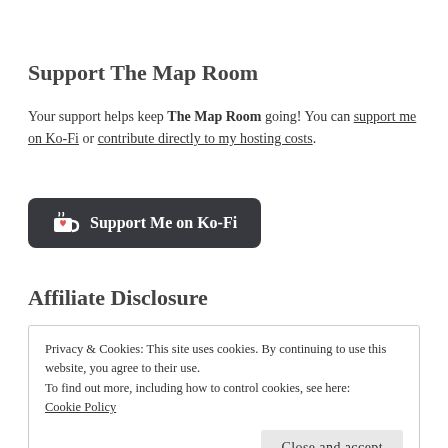Support The Map Room
Your support helps keep The Map Room going! You can support me on Ko-Fi or contribute directly to my hosting costs.
[Figure (other): Ko-Fi support button with coffee cup icon reading 'Support Me on Ko-Fi']
Affiliate Disclosure
Privacy & Cookies: This site uses cookies. By continuing to use this website, you agree to their use.
To find out more, including how to control cookies, see here:
Cookie Policy
Close and accept